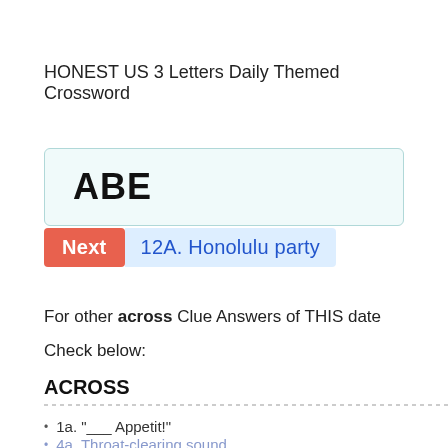HONEST US 3 Letters Daily Themed Crossword
ABE
Next  12A. Honolulu party
For other across Clue Answers of THIS date
Check below:
ACROSS
1a. "___ Appetit!"
4a. Throat-clearing sound